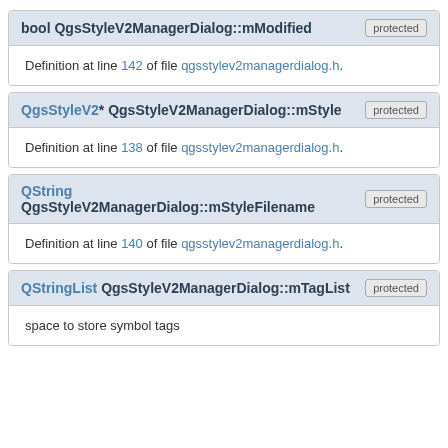bool QgsStyleV2ManagerDialog::mModified [protected]
Definition at line 142 of file qgsstylev2managerdialog.h.
QgsStyleV2* QgsStyleV2ManagerDialog::mStyle [protected]
Definition at line 138 of file qgsstylev2managerdialog.h.
QString QgsStyleV2ManagerDialog::mStyleFilename [protected]
Definition at line 140 of file qgsstylev2managerdialog.h.
QStringList QgsStyleV2ManagerDialog::mTagList [protected]
space to store symbol tags